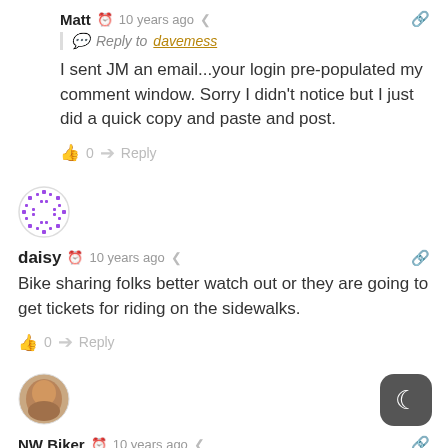Matt  10 years ago — Reply to davemess — I sent JM an email...your login pre-populated my comment window. Sorry I didn't notice but I just did a quick copy and paste and post.
daisy  10 years ago — Bike sharing folks better watch out or they are going to get tickets for riding on the sidewalks.
NW Biker  10 years ago